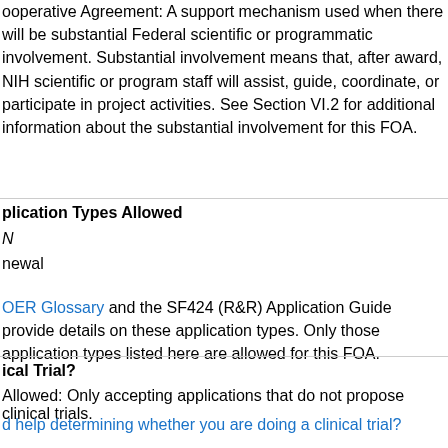ooperative Agreement: A support mechanism used when there will be substantial Federal scientific or programmatic involvement. Substantial involvement means that, after award, NIH scientific or program staff will assist, guide, coordinate, or participate in project activities. See Section VI.2 for additional information about the substantial involvement for this FOA.
Application Types Allowed
New
Renewal
The OER Glossary and the SF424 (R&R) Application Guide provide details on these application types. Only those application types listed here are allowed for this FOA.
Clinical Trial?
Not Allowed: Only accepting applications that do not propose clinical trials.
Need help determining whether you are doing a clinical trial?